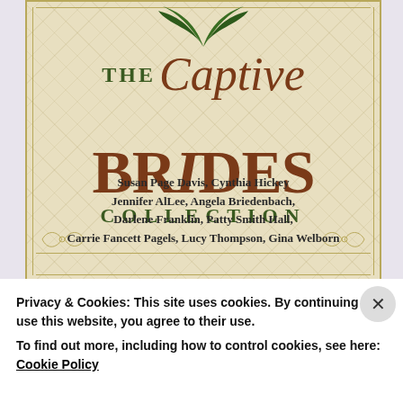[Figure (illustration): Book cover for 'The Captive Brides Collection'. Cream/parchment background with diamond pattern. Green holly decoration at top. Title in decorative serif fonts in dark green and brown. Authors listed at bottom. Gold border frame with decorative corner ornaments.]
Privacy & Cookies: This site uses cookies. By continuing to use this website, you agree to their use. To find out more, including how to control cookies, see here: Cookie Policy
Close and accept